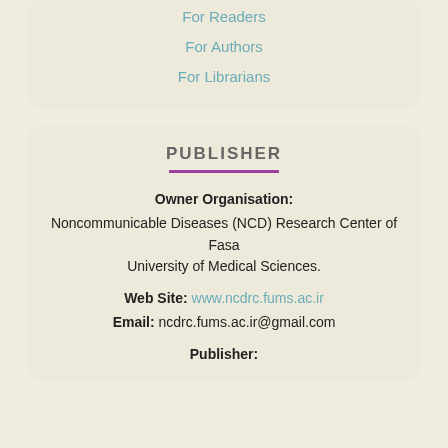For Readers
For Authors
For Librarians
PUBLISHER
Owner Organisation:
Noncommunicable Diseases (NCD) Research Center of Fasa University of Medical Sciences.
Web Site: www.ncdrc.fums.ac.ir
Email: ncdrc.fums.ac.ir@gmail.com
Publisher: